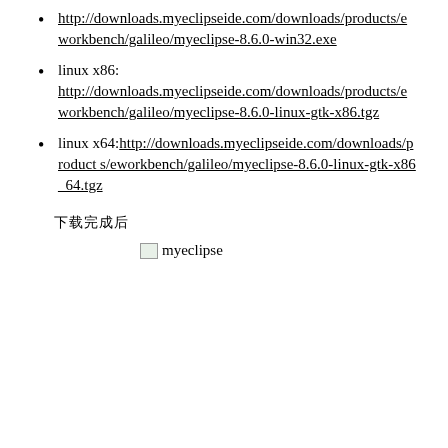http://downloads.myeclipseide.com/downloads/products/eworkbench/galileo/myeclipse-8.6.0-win32.exe
linux x86: http://downloads.myeclipseide.com/downloads/products/eworkbench/galileo/myeclipse-8.6.0-linux-gtk-x86.tgz
linux x64:http://downloads.myeclipseide.com/downloads/products/eworkbench/galileo/myeclipse-8.6.0-linux-gtk-x86_64.tgz
下载完成后
[Figure (screenshot): Broken image placeholder with alt text 'myeclipse']